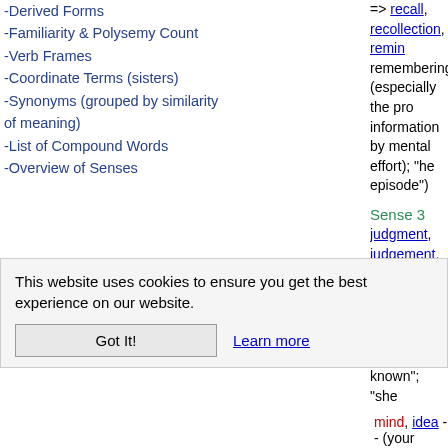-Derived Forms
-Familiarity & Polysemy Count
-Verb Frames
-Coordinate Terms (sisters)
-Synonyms (grouped by similarity of meaning)
-List of Compound Words
-Overview of Senses
=> recall, recollection, remin... remembering (especially the pro... information by mental effort); "he... episode")
Sense 3
judgment, judgement, mind -- (a... judging something; "he was reluc... known"; "she changed her mind"...
=> opinion, sentiment, persu... personal belief or judgment that ... certainty; "my opinion differs fron... persuasion"; "what are your thou...
Sense 4
thinker, creative thinker, mind -- (... "the great minds of the 17th cent...
=> intellectual, intellect -- (a... creatively)
Sense 5
mind -- (attention; "don't pay him...
=> action, observation, obse...
mind, idea -- (your intention, wha...